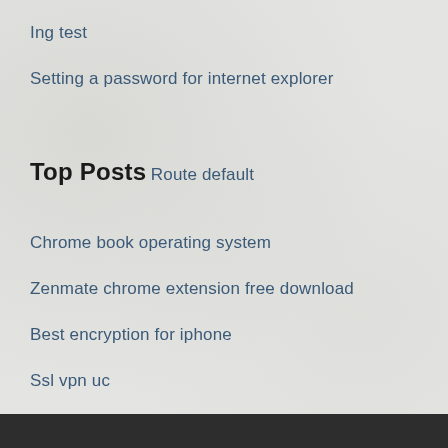Ing test
Setting a password for internet explorer
Top Posts
Route default
Chrome book operating system
Zenmate chrome extension free download
Best encryption for iphone
Ssl vpn uc